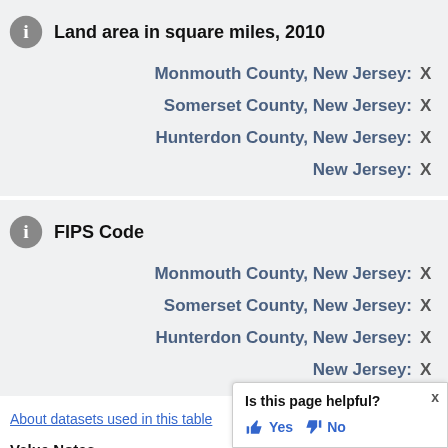Land area in square miles, 2010
Monmouth County, New Jersey: X
Somerset County, New Jersey: X
Hunterdon County, New Jersey: X
New Jersey: X
FIPS Code
Monmouth County, New Jersey: X
Somerset County, New Jersey: X
Hunterdon County, New Jersey: X
New Jersey: X
About datasets used in this table
Value Notes
Estimates are not comparable to other geograp